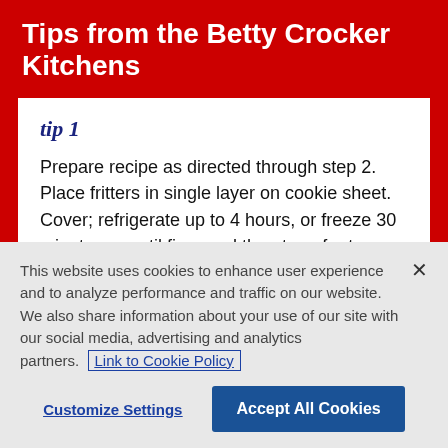Tips from the Betty Crocker Kitchens
tip 1
Prepare recipe as directed through step 2. Place fritters in single layer on cookie sheet. Cover; refrigerate up to 4 hours, or freeze 30 minutes or until firm, and then transfer to freezer plastic bags. Fry as directed, adding 2 to 3 minutes
This website uses cookies to enhance user experience and to analyze performance and traffic on our website. We also share information about your use of our site with our social media, advertising and analytics partners.  Link to Cookie Policy
Customize Settings
Accept All Cookies